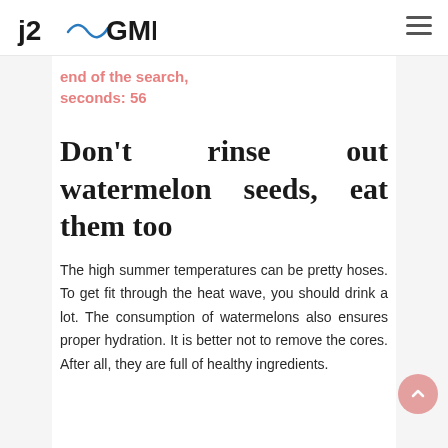j2GMN
end of the search, seconds: 56
Don't rinse out watermelon seeds, eat them too
The high summer temperatures can be pretty hoses. To get fit through the heat wave, you should drink a lot. The consumption of watermelons also ensures proper hydration. It is better not to remove the cores. After all, they are full of healthy ingredients.